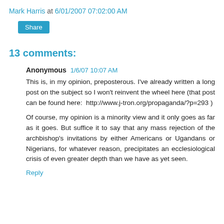Mark Harris at 6/01/2007 07:02:00 AM
Share
13 comments:
Anonymous  1/6/07 10:07 AM
This is, in my opinion, preposterous. I've already written a long post on the subject so I won't reinvent the wheel here (that post can be found here:  http://www.j-tron.org/propaganda/?p=293 )
Of course, my opinion is a minority view and it only goes as far as it goes. But suffice it to say that any mass rejection of the archbishop's invitations by either Americans or Ugandans or Nigerians, for whatever reason, precipitates an ecclesiological crisis of even greater depth than we have as yet seen.
Reply